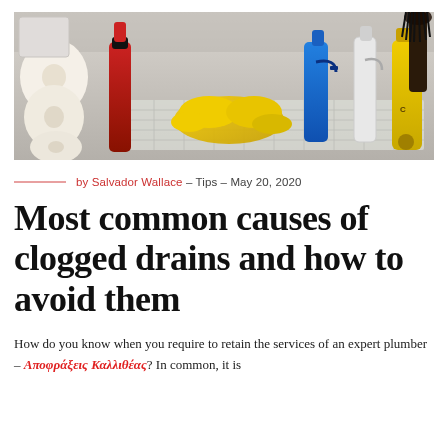[Figure (photo): Under-sink cabinet with cleaning supplies: toilet paper rolls on left, red plunger/bottle, yellow rubber gloves, blue and white spray bottles, yellow cleaning product bottle, and a dark broom/brush in the upper right, all stored in a wire/mesh organizer basket.]
by Salvador Wallace – Tips – May 20, 2020
Most common causes of clogged drains and how to avoid them
How do you know when you require to retain the services of an expert plumber – Αποφράξεις Καλλιθέας? In common, it is